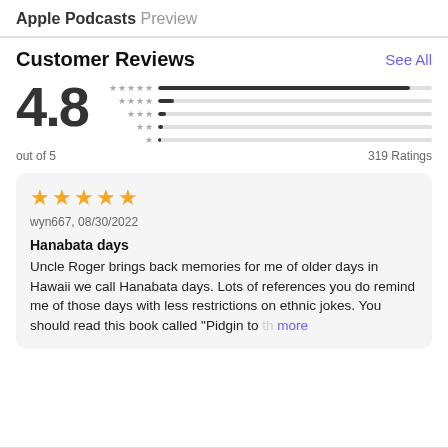Apple Podcasts Preview
Customer Reviews
4.8 out of 5 — 319 Ratings
[Figure (other): Star rating bar chart showing 5-star distribution. Five rows of stars (5★ through 1★) with horizontal bars. The 5-star bar is nearly full, the others are very short or empty.]
★★★★★
wyn667, 08/30/2022

Hanabata days
Uncle Roger brings back memories for me of older days in Hawaii we call Hanabata days. Lots of references you do remind me of those days with less restrictions on ethnic jokes. You should read this book called "Pidgin to th more